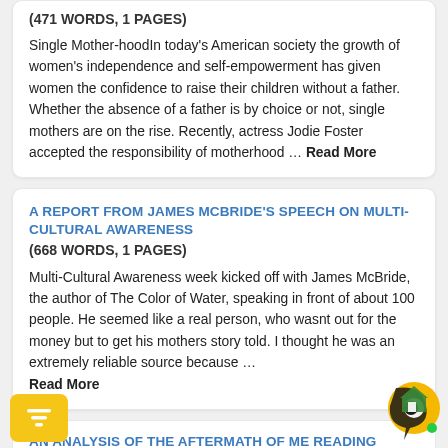(471 WORDS, 1 PAGES)
Single Mother-hoodIn today’s American society the growth of women’s independence and self-empowerment has given women the confidence to raise their children without a father. Whether the absence of a father is by choice or not, single mothers are on the rise. Recently, actress Jodie Foster accepted the responsibility of motherhood … Read More
A REPORT FROM JAMES MCBRIDE’S SPEECH ON MULTI-CULTURAL AWARENESS
(668 WORDS, 1 PAGES)
Multi-Cultural Awareness week kicked off with James McBride, the author of The Color of Water, speaking in front of about 100 people. He seemed like a real person, who wasnt out for the money but to get his mothers story told. I thought he was an extremely reliable source because … Read More
AN ANALYSIS OF THE AFTERMATH OF ME READING